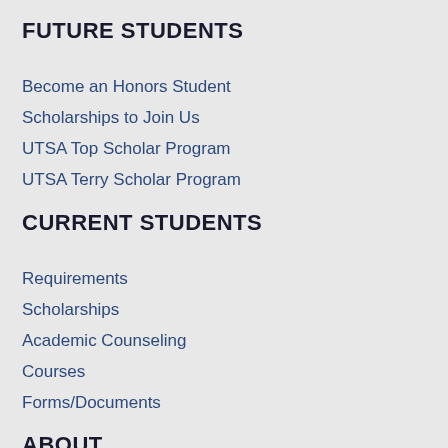FUTURE STUDENTS
Become an Honors Student
Scholarships to Join Us
UTSA Top Scholar Program
UTSA Terry Scholar Program
CURRENT STUDENTS
Requirements
Scholarships
Academic Counseling
Courses
Forms/Documents
ABOUT
About the Honors College
Faculty & Staff Directory